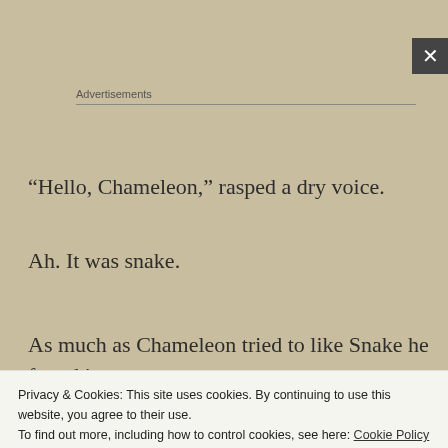Advertisements
“Hello, Chameleon,” rasped a dry voice.
Ah. It was snake.
As much as Chameleon tried to like Snake he found it
hard. There was something creeping about the creature
Privacy & Cookies: This site uses cookies. By continuing to use this website, you agree to their use.
To find out more, including how to control cookies, see here: Cookie Policy
Close and accept